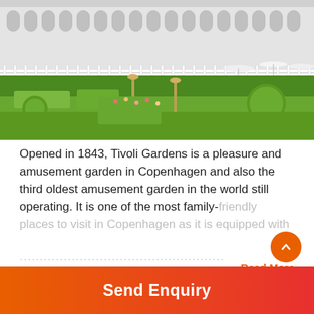[Figure (photo): Photo of Tivoli Gardens showing white ornate building with arches and lush green garden in foreground]
Opened in 1843, Tivoli Gardens is a pleasure and amusement garden in Copenhagen and also the third oldest amusement garden in the world still operating. It is one of the most family-friendly places to visit in Copenhagen as it is equipped with
Read More
17  Frederiksborg Castle
[Figure (photo): Partial photo of Frederiksborg Castle showing spires/towers]
Send Enquiry